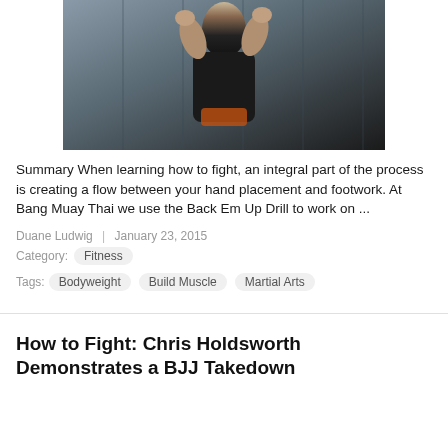[Figure (photo): A fighter in a black tank top and shorts in a boxing stance against a dark wall background]
Summary When learning how to fight, an integral part of the process is creating a flow between your hand placement and footwork. At Bang Muay Thai we use the Back Em Up Drill to work on ...
Duane Ludwig  |  January 23, 2015
Category:  Fitness
Tags:  Bodyweight  Build Muscle  Martial Arts
How to Fight: Chris Holdsworth Demonstrates a BJJ Takedown